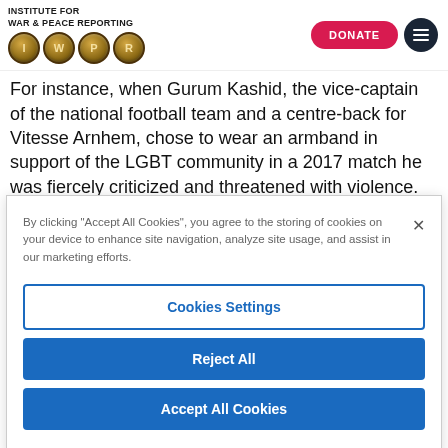[Figure (logo): Institute for War & Peace Reporting logo with IWPR coin icons and header navigation including DONATE button and hamburger menu]
For instance, when Gurum Kashid, the vice-captain of the national football team and a centre-back for Vitesse Arnhem, chose to wear an armband in support of the LGBT community in a 2017 match he was fiercely criticized and threatened with violence.
By clicking "Accept All Cookies", you agree to the storing of cookies on your device to enhance site navigation, analyze site usage, and assist in our marketing efforts.
Cookies Settings
Reject All
Accept All Cookies